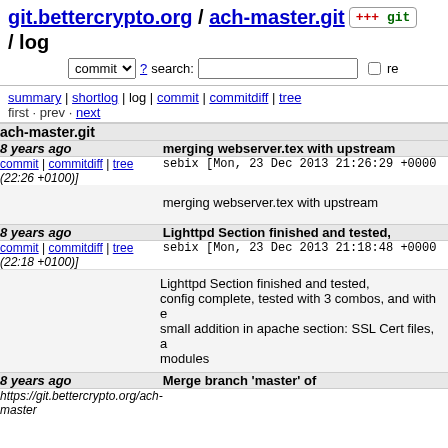git.bettercrypto.org / ach-master.git / log
summary | shortlog | log | commit | commitdiff | tree
first · prev · next
| age | commit message |
| --- | --- |
| ach-master.git |  |
| 8 years ago | merging webserver.tex with upstream |
| commit | commitdiff | tree (22:26 +0100)] | sebix [Mon, 23 Dec 2013 21:26:29 +0000 |
|  | merging webserver.tex with upstream |
| 8 years ago | Lighttpd Section finished and tested, |
| commit | commitdiff | tree (22:18 +0100)] | sebix [Mon, 23 Dec 2013 21:18:48 +0000 |
|  | Lighttpd Section finished and tested, config complete, tested with 3 combos, and with e small addition in apache section: SSL Cert files, a modules |
| 8 years ago | Merge branch 'master' of https://git.bettercrypto.org/ach-master |